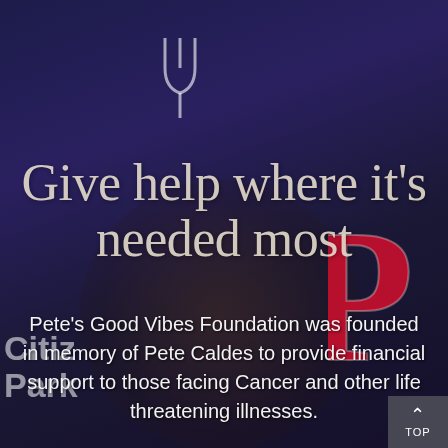[Figure (photo): Dark blue/navy background with a person (Pete Caldes) in the center, a Citizens Bank Park banner on the left, and a partial Philadelphia Phillies logo on the right. A stylized person/logo icon appears at the top center.]
Give help where it's needed most
Pete's Good Vibes Foundation was founded in memory of Pete Caldes to provide financial support to those facing Cancer and other life threatening illnesses.